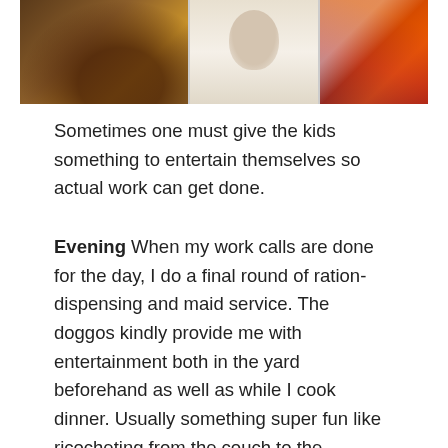[Figure (photo): A collage of three images: left shows a dark animal (dog) on a wooden surface, middle shows a pencil drawing on paper, right shows a colorful cartoon/comic illustration of a character in orange and purple.]
Sometimes one must give the kids something to entertain themselves so actual work can get done.
Evening When my work calls are done for the day, I do a final round of ration-dispensing and maid service. The doggos kindly provide me with entertainment both in the yard beforehand as well as while I cook dinner. Usually something super fun like ricocheting from the couch to the ottoman and then onto the dining